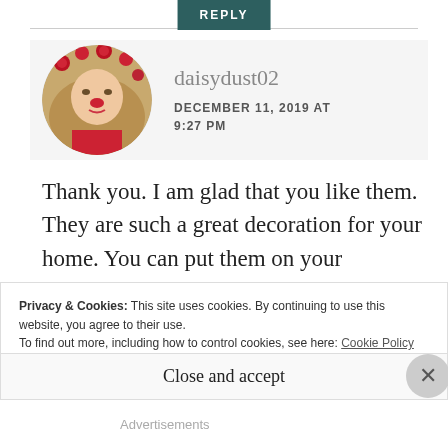REPLY
[Figure (photo): Circular avatar photo of daisydust02 — a woman with long blonde hair lying down, wearing red, with red roses around her hair and on her face.]
daisydust02
DECEMBER 11, 2019 AT 9:27 PM
Thank you. I am glad that you like them. They are such a great decoration for your home. You can put them on your Christmas tree or
Privacy & Cookies: This site uses cookies. By continuing to use this website, you agree to their use.
To find out more, including how to control cookies, see here: Cookie Policy
Close and accept
Advertisements